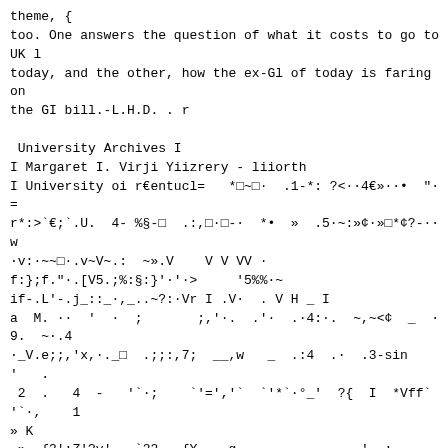theme, {
too. One answers the question of what it costs to go to UK l
today, and the other, how the ex-Gl of today is faring on
the GI bill.-L.H.D. . r

 University Archives I
I Margaret I. Virji Yiizrery - liiorth
I University oi r€entucl=   *o~o·  .1-*: ?<··4€»··•  "·=
r*:>`€;`.U.  4- %§-o  .:,o·o-·  *•  »  .5·~:»¢·»o*¢?-··w
·v:·~~o·.v~V~.:  ~».V    V V VV ·
f:};f."·.[V5.;%:§:}'·'·>     '5%%·~
if-.L'-.j_::_·,_..~?:·Vr I .V·  . V H _ I
a  M. ··  '  ·  ;       ;,'·.  .'·  .·4:·.  ~,~<¢  _  · 9.  ~·.4
·_V.e;;,'x,·._o  .;;:,7;  __,w   _  .:4  .·  .3-sin     '   .
 2  .   4  -   '`·;    `'=','`  `'*`·°_'  ?{  I  *Vff`  '`·,    1
» K
 »  {3':Z'?y'-·.`22   {Y.  .g.  ··       ·  ·'  ;.  ~—_  -  _.  .
I · 4
-iwfgij-;·oi'·.·;?¢`-:iJ§.–Ri»<.,;";3{.-T r>·· ' · ' ·'
· ·' –·    –  · V : ( ,H :
':` ?'iZ=i'"··Y'e».:·._· F: »'**V ' 'Y _`»`  _  ' '_  V ( `
' .
::r E: 5 :
.·· V·o 4
' r
Z I X l
. .  ·  - * ` f 1
{ :